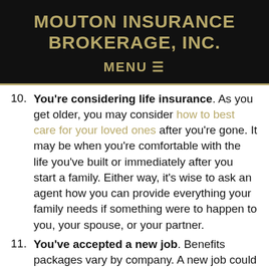MOUTON INSURANCE BROKERAGE, INC.
MENU ☰
You're considering life insurance. As you get older, you may consider how to best care for your loved ones after you're gone. It may be when you're comfortable with the life you've built or immediately after you start a family. Either way, it's wise to ask an agent how you can provide everything your family needs if something were to happen to you, your spouse, or your partner.
You've accepted a new job. Benefits packages vary by company. A new job could cause you to lose some benefits, or a salary...